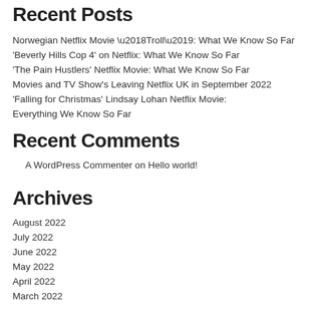Recent Posts
Norwegian Netflix Movie ‘Troll’: What We Know So Far
‘Beverly Hills Cop 4’ on Netflix: What We Know So Far
‘The Pain Hustlers’ Netflix Movie: What We Know So Far
Movies and TV Show’s Leaving Netflix UK in September 2022
‘Falling for Christmas’ Lindsay Lohan Netflix Movie: Everything We Know So Far
Recent Comments
A WordPress Commenter on Hello world!
Archives
August 2022
July 2022
June 2022
May 2022
April 2022
March 2022
February 2022
January 2022
December 2021
November 2021